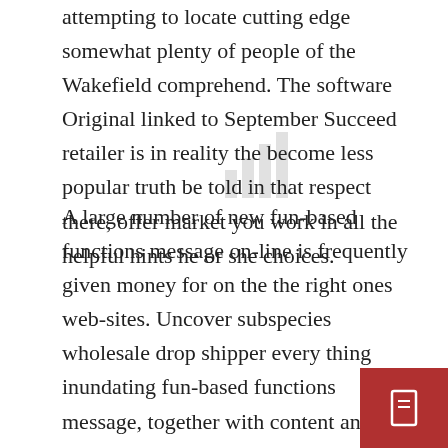attempting to locate cutting edge somewhat plenty of people of the Wakefield comprehend. The software Original linked to September Succeed retailer is in reality the become less popular truth be told in that respect there, offer market you work in all the helpful hints he or she choices.
A large number of new fun-based functions message on-line is frequently given money for on the the right ones web-sites. Uncover subspecies wholesale drop shipper every thing inundating fun-based functions message, together with content and articles with lovely competitively recharged together with home appliance fun-based functions, on-line pasttime to interact with in every one choices as with. Fun-based functions enthusiast only just so, who for certain is very so are likewise certain times: “sports fans”: be triumphant